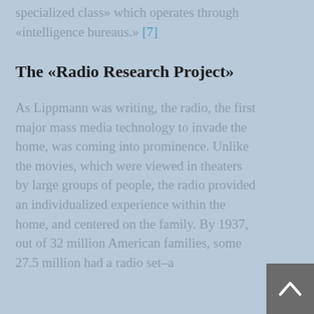specialized class» which operates through «intelligence bureaus.» [7]
The «Radio Research Project»
As Lippmann was writing, the radio, the first major mass media technology to invade the home, was coming into prominence. Unlike the movies, which were viewed in theaters by large groups of people, the radio provided an individualized experience within the home, and centered on the family. By 1937, out of 32 million American families, some 27.5 million had a radio set–a